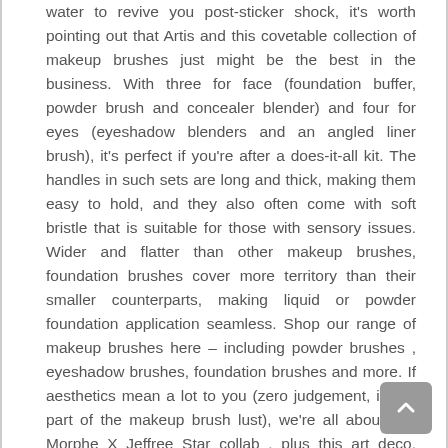water to revive you post-sticker shock, it's worth pointing out that Artis and this covetable collection of makeup brushes just might be the best in the business. With three for face (foundation buffer, powder brush and concealer blender) and four for eyes (eyeshadow blenders and an angled liner brush), it's perfect if you're after a does-it-all kit. The handles in such sets are long and thick, making them easy to hold, and they also often come with soft bristle that is suitable for those with sensory issues. Wider and flatter than other makeup brushes, foundation brushes cover more territory than their smaller counterparts, making liquid or powder foundation application seamless. Shop our range of makeup brushes here – including powder brushes , eyeshadow brushes, foundation brushes and more. If aesthetics mean a lot to you (zero judgement, it's all part of the makeup brush lust), we're all about this Morphe X Jeffree Star collab , plus this art deco, millennial pink fever dream brush set , also from Zoeva